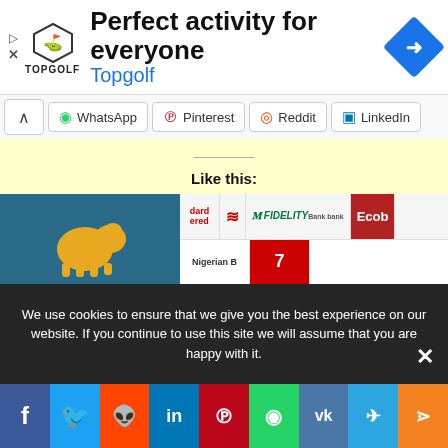[Figure (screenshot): Topgolf advertisement banner with logo, text 'Perfect activity for everyone' and 'Topgolf', with navigation icon]
[Figure (screenshot): Social sharing bar with WhatsApp, Pinterest, Reddit, LinkedIn buttons]
Like this:
[Figure (screenshot): Like button widget with star icon]
Be the first to like this.
[Figure (screenshot): Bottom images strip showing elephant graphic and bank logos (Standard Chartered, Fidelity, Ecobank, Nigerian Banks SWIFT)]
We use cookies to ensure that we give you the best experience on our website. If you continue to use this site we will assume that you are happy with it.
[Figure (screenshot): Social media share footer with Facebook, Twitter, Reddit, LinkedIn, Pinterest, WhatsApp, VK, Telegram, Share buttons]